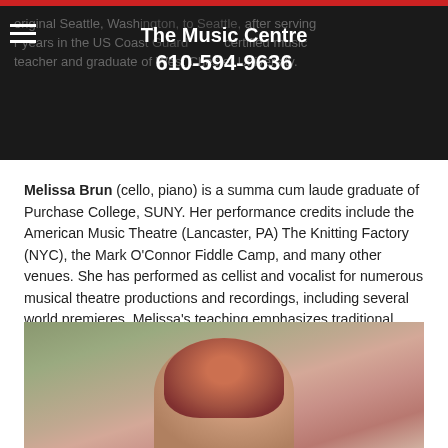The Music Centre
610-594-9636
original Seattle, Washington, to Seattle, after serving r years in the US Coas certified music teacher and graduate of West Chester University.
Melissa Brun (cello, piano) is a summa cum laude graduate of Purchase College, SUNY. Her performance credits include the American Music Theatre (Lancaster, PA) The Knitting Factory (NYC), the Mark O'Connor Fiddle Camp, and many other venues. She has performed as cellist and vocalist for numerous musical theatre productions and recordings, including several world premieres. Melissa's teaching emphasizes traditional techniques as well as improvisation and playing by ear.
[Figure (photo): Portrait photo of a woman with reddish-brown hair outdoors against a stone/foliage background]